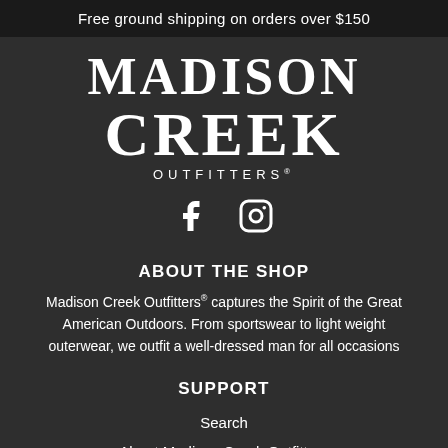Free ground shipping on orders over $150
[Figure (logo): Madison Creek Outfitters logo with large serif text MADISON CREEK and OUTFITTERS below]
[Figure (illustration): Facebook and Instagram social media icons]
ABOUT THE SHOP
Madison Creek Outfitters® captures the Spirit of the Great American Outdoors. From sportswear to light weight outerwear, we outfit a well-dressed man for all occasions
SUPPORT
Search
About Madison Creek Outfitters
Contact Us
Shipping & Returns